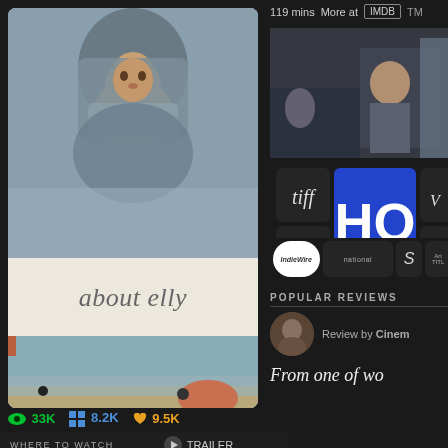[Figure (screenshot): Movie card for 'About Elly' showing a woman in a hijab at top, the movie title in the middle, and a beach scene at the bottom]
👁 33K  ⊞ 8.2K  ♥ 9.5K
WHERE TO WATCH
▶ Trailer
119 mins  More at  IMDB  TM
[Figure (photo): Film still showing a man sitting by a window]
[Figure (screenshot): Grid of review publication logos including tiff, NEON, RS, HQ (large blue), IndieWire, national, S, Art Titles]
POPULAR REVIEWS
Review by Cinem
From one of wo